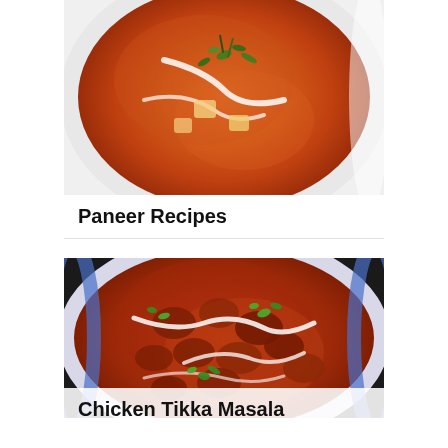[Figure (photo): Top-down view of paneer dish in a round white bowl with orange curry sauce, garnished with cream, green herbs, and vegetables]
Paneer Recipes
[Figure (photo): Top-down view of Chicken Tikka Masala in a white bowl, orange-red sauce with pieces of chicken, drizzled with cream and garnished with cilantro]
Chicken Tikka Masala